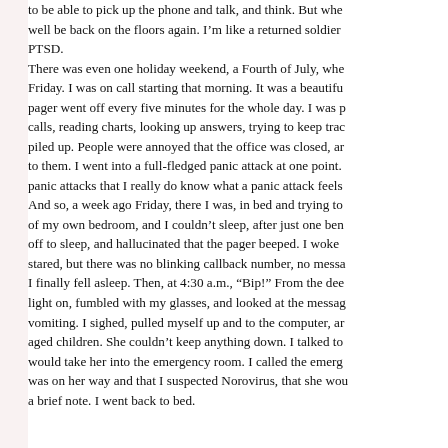to be able to pick up the phone and talk, and think. But whe well be back on the floors again. I'm like a returned soldier PTSD. There was even one holiday weekend, a Fourth of July, whe Friday. I was on call starting that morning. It was a beautifu pager went off every five minutes for the whole day. I was p calls, reading charts, looking up answers, trying to keep trac piled up. People were annoyed that the office was closed, ar to them. I went into a full-fledged panic attack at one point. panic attacks that I really do know what a panic attack feels And so, a week ago Friday, there I was, in bed and trying to of my own bedroom, and I couldn't sleep, after just one ben off to sleep, and hallucinated that the pager beeped. I woke stared, but there was no blinking callback number, no messa I finally fell asleep. Then, at 4:30 a.m., “Bip!” From the dee light on, fumbled with my glasses, and looked at the messag vomiting. I sighed, pulled myself up and to the computer, ar aged children. She couldn’t keep anything down. I talked to would take her into the emergency room. I called the emerg was on her way and that I suspected Norovirus, that she wo a brief note. I went back to bed.